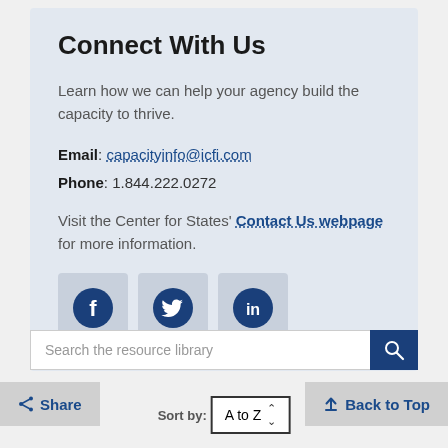Connect With Us
Learn how we can help your agency build the capacity to thrive.
Email: capacityinfo@icfi.com
Phone: 1.844.222.0272
Visit the Center for States' Contact Us webpage for more information.
[Figure (illustration): Social media icons: Facebook, Twitter, LinkedIn]
Search the resource library
Share
Back to Top
Sort by: A to Z